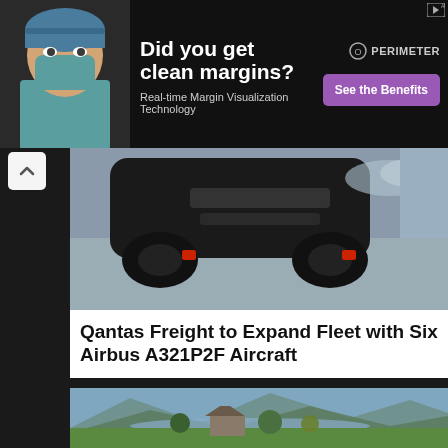[Figure (photo): Advertisement banner with doctor in surgical mask and cap on left, white text 'Did you get clean margins?' headline, subtext 'Real-time Margin Visualization Technology', Perimeter logo top right, purple 'See the Benefits' CTA button]
[Figure (photo): Aerial or close-up photo of dark vehicle undercarriage/bottom viewed from below on tarmac]
Qantas Freight to Expand Fleet with Six Airbus A321P2F Aircraft
[Figure (photo): Aerial drone photograph of a large country estate or manor house surrounded by lush green fields, trees with autumn colors, and a lake with mountains in the background under a partly cloudy sky]